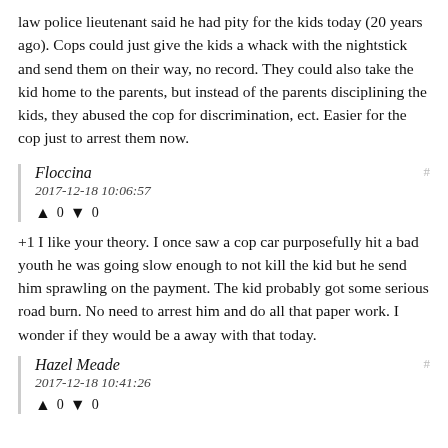law police lieutenant said he had pity for the kids today (20 years ago). Cops could just give the kids a whack with the nightstick and send them on their way, no record. They could also take the kid home to the parents, but instead of the parents disciplining the kids, they abused the cop for discrimination, ect. Easier for the cop just to arrest them now.
Floccina
2017-12-18 10:06:57
↑ 0 ↓ 0
+1 I like your theory. I once saw a cop car purposefully hit a bad youth he was going slow enough to not kill the kid but he send him sprawling on the payment. The kid probably got some serious road burn. No need to arrest him and do all that paper work. I wonder if they would be a away with that today.
Hazel Meade
2017-12-18 10:41:26
↑ 0 ↓ 0